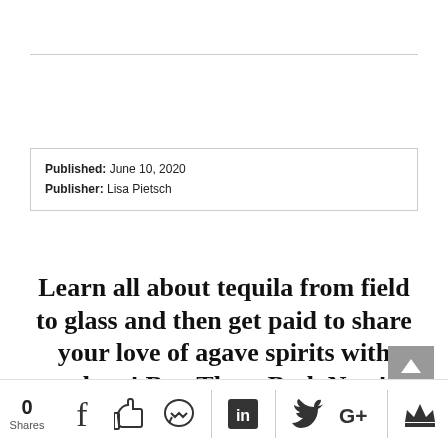Published: June 10, 2020
Publisher: Lisa Pietsch
Learn all about tequila from field to glass and then get paid to share your love of agave spirits with others! Buy Them Both Now!
0 Shares